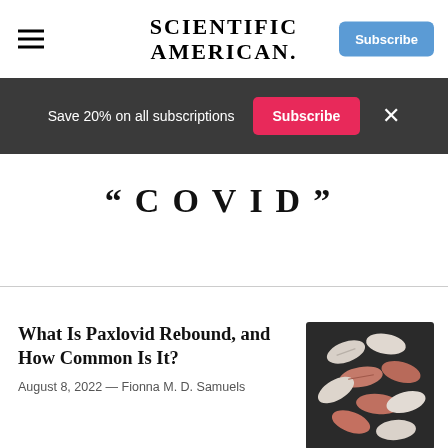SCIENTIFIC AMERICAN
Save 20% on all subscriptions
"COVID"
What Is Paxlovid Rebound, and How Common Is It?
August 8, 2022 — Fionna M. D. Samuels
[Figure (photo): Close-up of multiple pink and white oval pill tablets on a dark background]